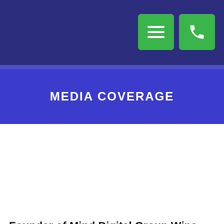MEDIA COVERAGE
Founder of Mind Digital Group Wins The